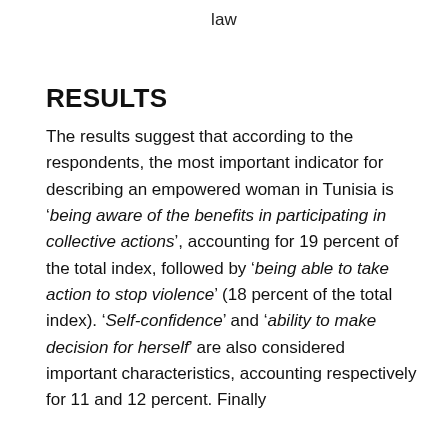law
RESULTS
The results suggest that according to the respondents, the most important indicator for describing an empowered woman in Tunisia is 'being aware of the benefits in participating in collective actions', accounting for 19 percent of the total index, followed by 'being able to take action to stop violence' (18 percent of the total index). 'Self-confidence' and 'ability to make decision for herself' are also considered important characteristics, accounting respectively for 11 and 12 percent. Finally